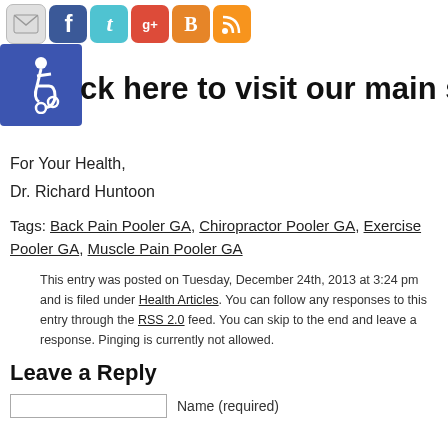[Figure (illustration): Row of social media icons: email (envelope), Facebook (f), Twitter (bird/t), Google+ (g+), Blogger (B), RSS feed icon]
[Figure (illustration): Blue accessibility icon (wheelchair symbol)]
ck here to visit our main site.
For Your Health,
Dr. Richard Huntoon
Tags: Back Pain Pooler GA, Chiropractor Pooler GA, Exercise Pooler GA, Muscle Pain Pooler GA
This entry was posted on Tuesday, December 24th, 2013 at 3:24 pm and is filed under Health Articles. You can follow any responses to this entry through the RSS 2.0 feed. You can skip to the end and leave a response. Pinging is currently not allowed.
Leave a Reply
Name (required)